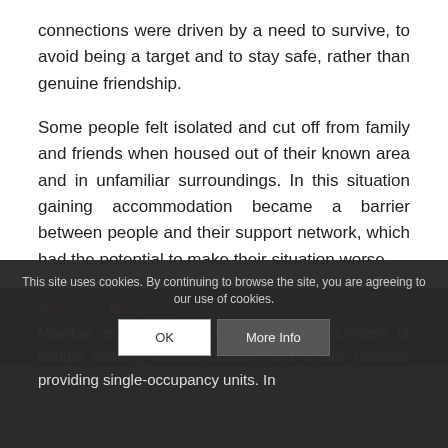connections were driven by a need to survive, to avoid being a target and to stay safe, rather than genuine friendship.
Some people felt isolated and cut off from family and friends when housed out of their known area and in unfamiliar surroundings. In this situation gaining accommodation became a barrier between people and their support network, which had the potential to make their situation worse.
Mayday's Response
Mayday recommends moving to smaller numbers of people sharing accommodation and where possible providing single-occupancy units. In